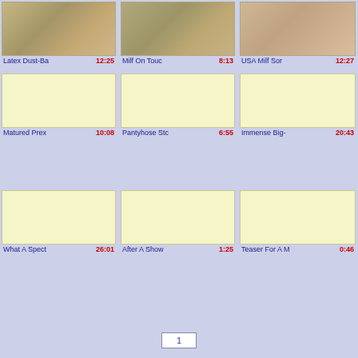[Figure (screenshot): Video thumbnail grid showing adult video listings with titles and durations. Row 1: Latex Dust-Ba (12:25), Milf On Touc (8:13), USA Milf Sor (12:27). Row 2: Matured Prex (10:08), Pantyhose Stc (6:55), Immense Big- (20:43). Row 3: What A Spect (26:01), After A Show (1:25), Teaser For A M (0:46).]
Latex Dust-Ba
12:25
Milf On Touc
8:13
USA Milf Sor
12:27
Matured Prex
10:08
Pantyhose Stc
6:55
Immense Big-
20:43
What A Spect
26:01
After A Show
1:25
Teaser For A M
0:46
1